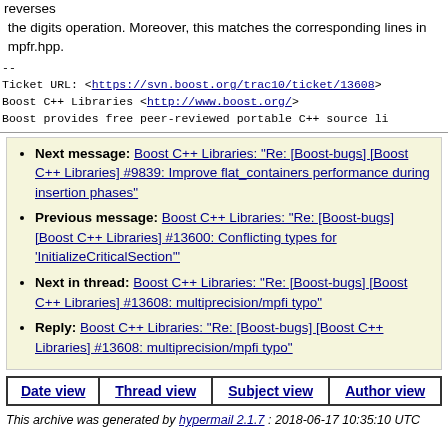reverses the digits operation. Moreover, this matches the corresponding lines in mpfr.hpp.
--
Ticket URL: <https://svn.boost.org/trac10/ticket/13608>
Boost C++ Libraries <http://www.boost.org/>
Boost provides free peer-reviewed portable C++ source li
Next message: Boost C++ Libraries: "Re: [Boost-bugs] [Boost C++ Libraries] #9839: Improve flat_containers performance during insertion phases"
Previous message: Boost C++ Libraries: "Re: [Boost-bugs] [Boost C++ Libraries] #13600: Conflicting types for 'InitializeCriticalSection'"
Next in thread: Boost C++ Libraries: "Re: [Boost-bugs] [Boost C++ Libraries] #13608: multiprecision/mpfi typo"
Reply: Boost C++ Libraries: "Re: [Boost-bugs] [Boost C++ Libraries] #13608: multiprecision/mpfi typo"
| Date view | Thread view | Subject view | Author view |
| --- | --- | --- | --- |
This archive was generated by hypermail 2.1.7 : 2018-06-17 10:35:10 UTC